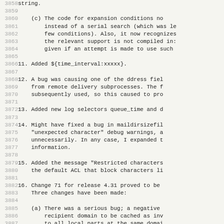Code/changelog lines 3858-3889 showing bug fixes and additions for an email system (Exim). Topics include: expansion conditions, ${time_interval:xxxxx}, ddress field bug, log selectors queue_time, maildirsizefile bug, Restricted characters message, Change 71 for release 4.31.